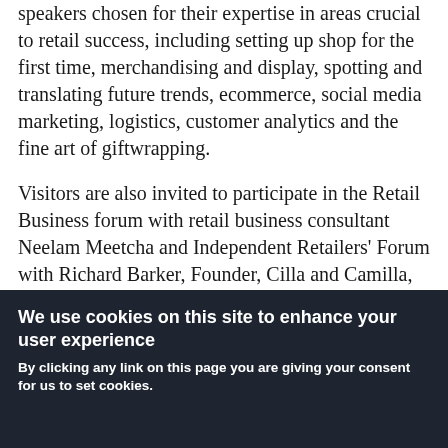speakers chosen for their expertise in areas crucial to retail success, including setting up shop for the first time, merchandising and display, spotting and translating future trends, ecommerce, social media marketing, logistics, customer analytics and the fine art of giftwrapping.
Visitors are also invited to participate in the Retail Business forum with retail business consultant Neelam Meetcha and Independent Retailers' Forum with Richard Barker, Founder, Cilla and Camilla, Ann-Marie James, Owner, Rossitors of Bath and Lindsey Adams, Founder, Bonkers.
We use cookies on this site to enhance your user experience
By clicking any link on this page you are giving your consent for us to set cookies.